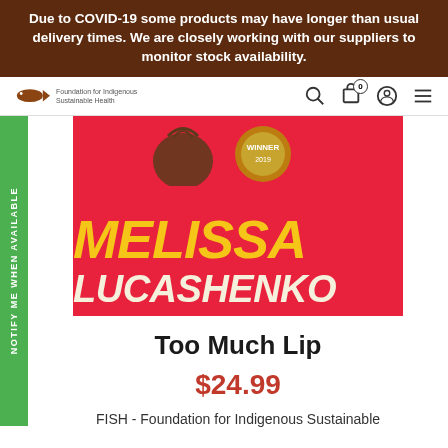Due to COVID-19 some products may have longer than usual delivery times. We are closely working with our suppliers to monitor stock availability.
[Figure (screenshot): Website navigation bar with Foundation for Indigenous Sustainable Health logo (fish icon with text), search icon, cart icon with 0 badge, user icon, and hamburger menu icon]
[Figure (photo): Book cover for Too Much Lip by Melissa Lucashenko. Red background with large yellow italic text MELISSA and cream/white italic text LUCASHENKO. Pineapple illustration and WINNER badge visible at top.]
NOTIFY ME WHEN AVAILABLE
Too Much Lip
$24.99
FISH - Foundation for Indigenous Sustainable